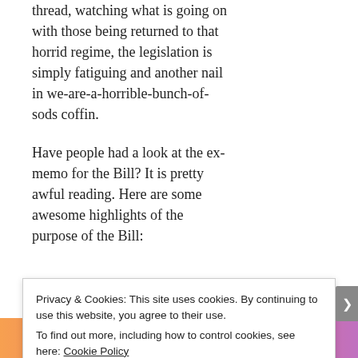thread, watching what is going on with those being returned to that horrid regime, the legislation is simply fatiguing and another nail in we-are-a-horrible-bunch-of-sods coffin.
Have people had a look at the ex-memo for the Bill? It is pretty awful reading. Here are some awesome highlights of the purpose of the Bill:
to provide for the Refugee Review Tribunal (RRT) to draw an
Privacy & Cookies: This site uses cookies. By continuing to use this website, you agree to their use.
To find out more, including how to control cookies, see here: Cookie Policy